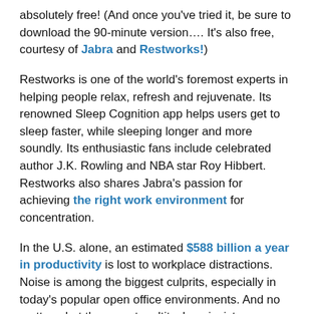absolutely free! (And once you've tried it, be sure to download the 90-minute version…. It's also free, courtesy of Jabra and Restworks!)
Restworks is one of the world's foremost experts in helping people relax, refresh and rejuvenate. Its renowned Sleep Cognition app helps users get to sleep faster, while sleeping longer and more soundly. Its enthusiastic fans include celebrated author J.K. Rowling and NBA star Roy Hibbert. Restworks also shares Jabra's passion for achieving the right work environment for concentration.
In the U.S. alone, an estimated $588 billion a year in productivity is lost to workplace distractions. Noise is among the biggest culprits, especially in today's popular open office environments. And no matter what the expert multitaskers insist, we humans we can only follow 1.6 conversations at the same time. When you are typing, it adds up to one conversation in your head – too many sensory inputs tax our brain and cause overload. Plus our brains have been rewired over the years to instantly